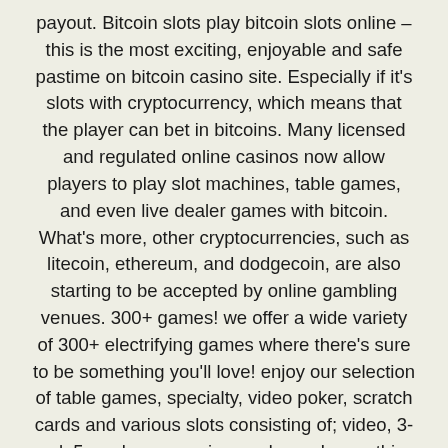payout. Bitcoin slots play bitcoin slots online – this is the most exciting, enjoyable and safe pastime on bitcoin casino site. Especially if it's slots with cryptocurrency, which means that the player can bet in bitcoins. Many licensed and regulated online casinos now allow players to play slot machines, table games, and even live dealer games with bitcoin. What's more, other cryptocurrencies, such as litecoin, ethereum, and dodgecoin, are also starting to be accepted by online gambling venues. 300+ games! we offer a wide variety of 300+ electrifying games where there's sure to be something you'll love! enjoy our selection of table games, specialty, video poker, scratch cards and various slots consisting of; video, 3- reel, 5- reel, progressive, and more! everything your heart desires for that electrifying casino experience. The online gaming industry has changed considerably over the last ten years, particularly in regulated markets where players demand more from their online casinos. Back when online casinos were still developing, players